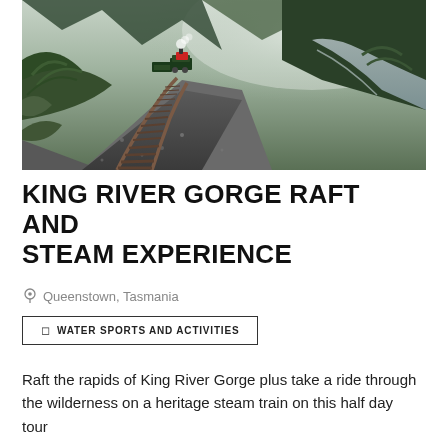[Figure (photo): A narrow-gauge steam train on tracks curving through a lush, misty rainforest gorge beside a river in Tasmania. Dense ferns and green vegetation line the rocky hillside, with mountains and mist in the background.]
KING RIVER GORGE RAFT AND STEAM EXPERIENCE
Queenstown, Tasmania
WATER SPORTS AND ACTIVITIES
Raft the rapids of King River Gorge plus take a ride through the wilderness on a heritage steam train on this half day tour